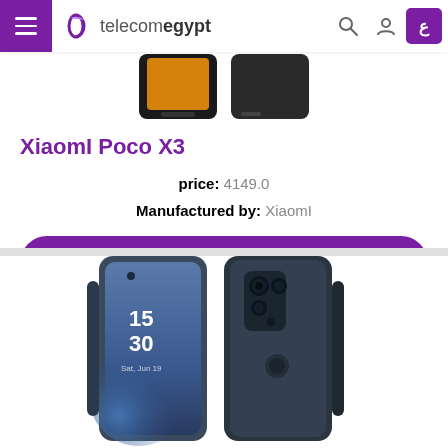telecomegypt
[Figure (photo): Partial view of Xiaomi Poco X3 smartphone showing front and back, cropped at top]
XiaomI Poco X3
price: 4149.0
Manufactured by: XiaomI
Read More
[Figure (photo): OPPO Reno 6 smartphone showing front (with time 15:30 on screen) and back views, partially cropped at bottom]